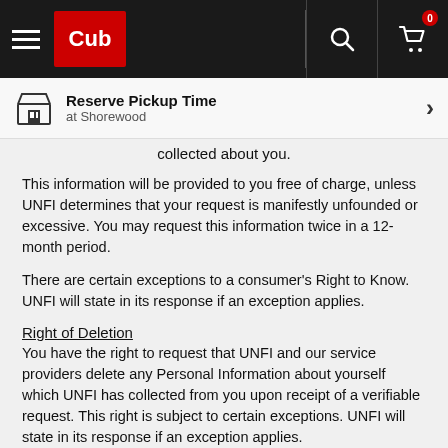Cub — Reserve Pickup Time at Shorewood
collected about you.
This information will be provided to you free of charge, unless UNFI determines that your request is manifestly unfounded or excessive. You may request this information twice in a 12-month period.
There are certain exceptions to a consumer's Right to Know. UNFI will state in its response if an exception applies.
Right of Deletion
You have the right to request that UNFI and our service providers delete any Personal Information about yourself which UNFI has collected from you upon receipt of a verifiable request. This right is subject to certain exceptions. UNFI will state in its response if an exception applies.